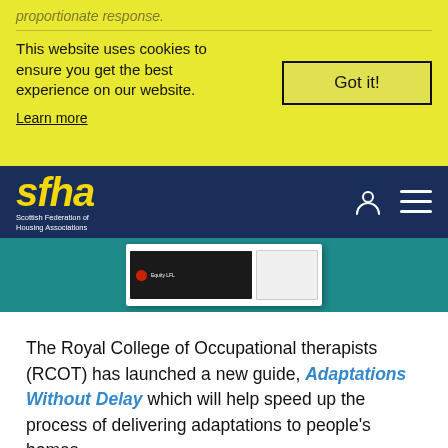proportionate response.
This website uses cookies to ensure you get the best experience on our website.
Learn more
Got it!
[Figure (logo): SFHA - Scottish Federation of Housing Associations logo in yellow italic text on dark navy background]
[Figure (screenshot): Hero image area with teal background showing document/report thumbnails]
The Royal College of Occupational therapists (RCOT) has launched a new guide, Adaptations Without Delay which will help speed up the process of delivering adaptations to people's homes.
Adaptations play a crucial role in prevention and